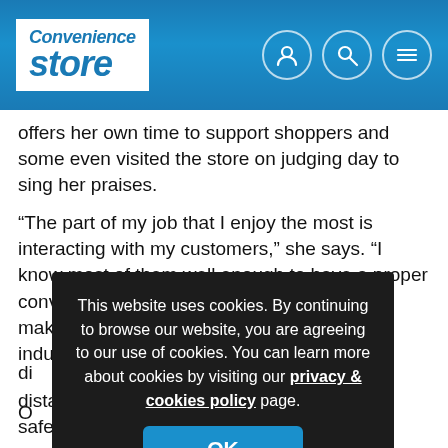[Figure (logo): Convenience Store website logo in white box on blue header background]
offers her own time to support shoppers and some even visited the store on judging day to sing her praises.
“The part of my job that I enjoy the most is interacting with my customers,” she says. “I know most of them well enough to have a proper conversation, but for those I don’t I’ll always make an effort to say something nice. This industry isn’t all ab... di...
O... a bl... se... pa...
This website uses cookies. By continuing to browse our website, you are agreeing to our use of cookies. You can learn more about cookies by visiting our privacy & cookies policy page.
distance to be sure that she gets to her door safely. And Rema